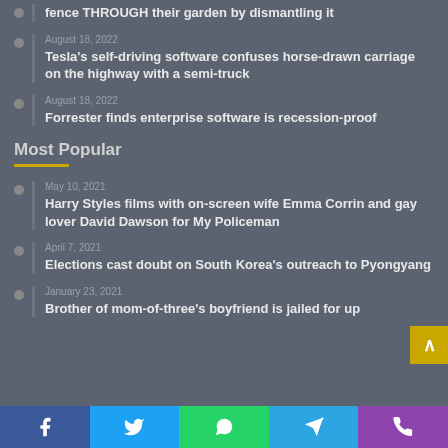fence THROUGH their garden by dismantling it
August 18, 2022 — Tesla's self-driving software confuses horse-drawn carriage on the highway with a semi-truck
August 18, 2022 — Forrester finds enterprise software is recession-proof
Most Popular
May 10, 2021 — Harry Styles films with on-screen wife Emma Corrin and gay lover David Dawson for My Policeman
April 7, 2021 — Elections cast doubt on South Korea's outreach to Pyongyang
January 23, 2021 — Brother of mom-of-three's boyfriend is jailed for up…